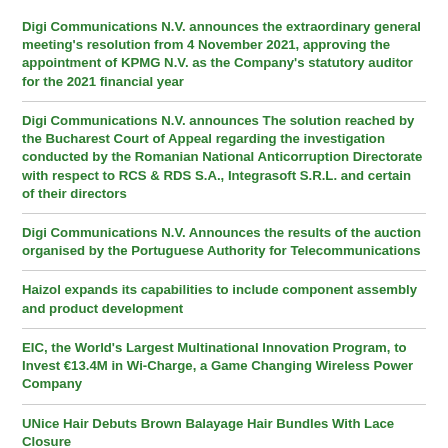Digi Communications N.V. announces the extraordinary general meeting's resolution from 4 November 2021, approving the appointment of KPMG N.V. as the Company's statutory auditor for the 2021 financial year
Digi Communications N.V. announces The solution reached by the Bucharest Court of Appeal regarding the investigation conducted by the Romanian National Anticorruption Directorate with respect to RCS & RDS S.A., Integrasoft S.R.L. and certain of their directors
Digi Communications N.V. Announces the results of the auction organised by the Portuguese Authority for Telecommunications
Haizol expands its capabilities to include component assembly and product development
EIC, the World's Largest Multinational Innovation Program, to Invest €13.4M in Wi-Charge, a Game Changing Wireless Power Company
UNice Hair Debuts Brown Balayage Hair Bundles With Lace Closure